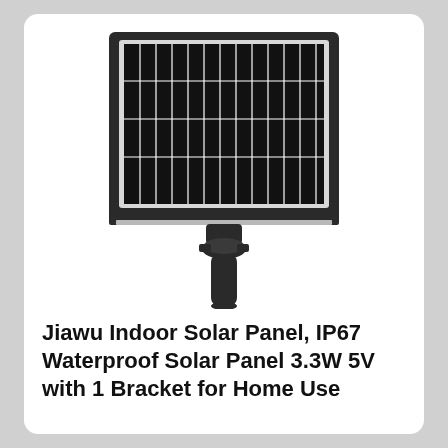[Figure (photo): A small square solar panel (dark/black photovoltaic cells with white grid lines) mounted on a black pole bracket with a round mounting clamp, shown on a white background.]
Jiawu Indoor Solar Panel, IP67 Waterproof Solar Panel 3.3W 5V with 1 Bracket for Home Use